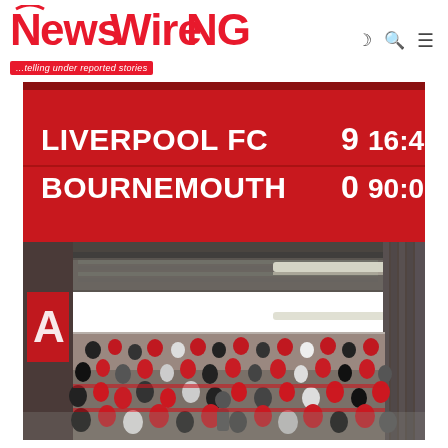NewsWireNGR ...telling under reported stories
[Figure (photo): Stadium scoreboard showing Liverpool FC 9 - Bournemouth 0 at 90:00, with crowd visible below in stadium seats]